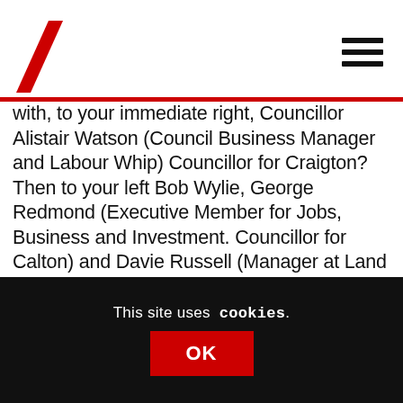[Logo: red backslash / navigation hamburger menu]
with, to your immediate right, Councillor Alistair Watson (Council Business Manager and Labour Whip) Councillor for Craigton? Then to your left Bob Wylie, George Redmond (Executive Member for Jobs, Business and Investment. Councillor for Calton) and Davie Russell (Manager at Land and Environmental Services)? Were you attending the match as part of an official delegation from the City Council? Were you a guest of the club?
This site uses cookies. OK